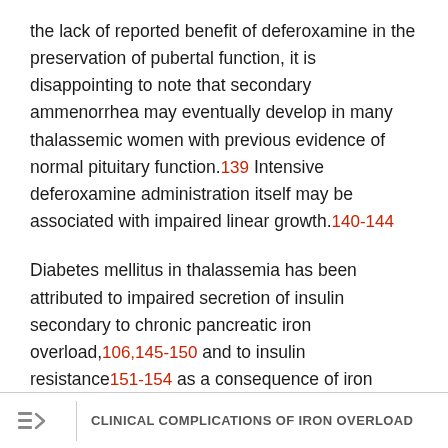the lack of reported benefit of deferoxamine in the preservation of pubertal function, it is disappointing to note that secondary ammenorrhea may eventually develop in many thalassemic women with previous evidence of normal pituitary function.139 Intensive deferoxamine administration itself may be associated with impaired linear growth.140-144
Diabetes mellitus in thalassemia has been attributed to impaired secretion of insulin secondary to chronic pancreatic iron overload,106,145-150 and to insulin resistance151-154 as a consequence of iron deposition within liver152 or skeletal muscle.155 Diabetes has also been linked temporally to episodes of acute viral hepatitis in some patients.149,150 In most studies there exists a
CLINICAL COMPLICATIONS OF IRON OVERLOAD